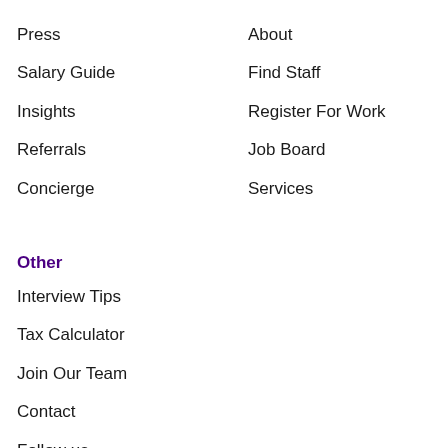Press
About
Salary Guide
Find Staff
Insights
Register For Work
Referrals
Job Board
Concierge
Services
Other
Interview Tips
Tax Calculator
Join Our Team
Contact
Follow us